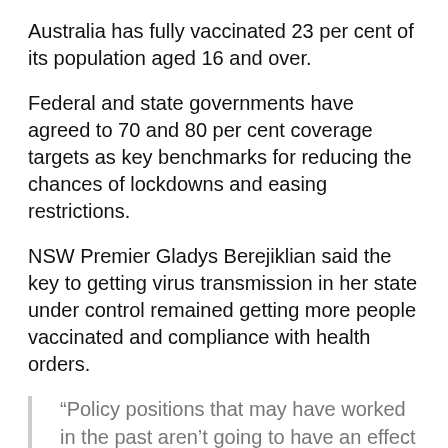Australia has fully vaccinated 23 per cent of its population aged 16 and over.
Federal and state governments have agreed to 70 and 80 per cent coverage targets as key benchmarks for reducing the chances of lockdowns and easing restrictions.
NSW Premier Gladys Berejiklian said the key to getting virus transmission in her state under control remained getting more people vaccinated and compliance with health orders.
“Policy positions that may have worked in the past aren’t going to have an effect with Delta, it’s something we need to accept,” she said.
“Short of not having authorised workers do what’s necessary, it’s